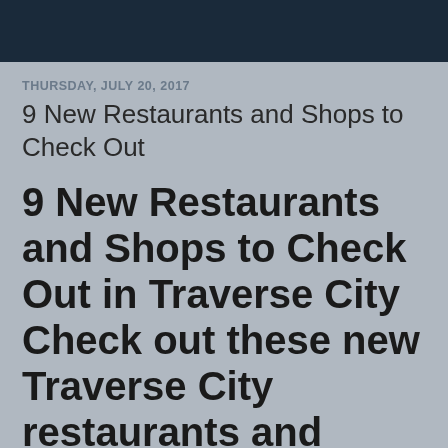THURSDAY, JULY 20, 2017
9 New Restaurants and Shops to Check Out
9 New Restaurants and Shops to Check Out in Traverse City Check out these new Traverse City restaurants and downtown shops!